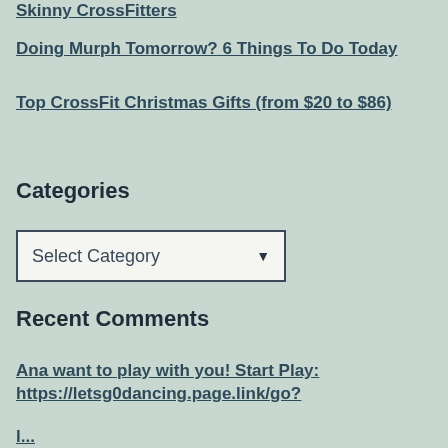Skinny CrossFitters
Doing Murph Tomorrow? 6 Things To Do Today
Top CrossFit Christmas Gifts (from $20 to $86)
Categories
Select Category
Recent Comments
Ana want to play with you! Start Play: https://letsg0dancing.page.link/go?